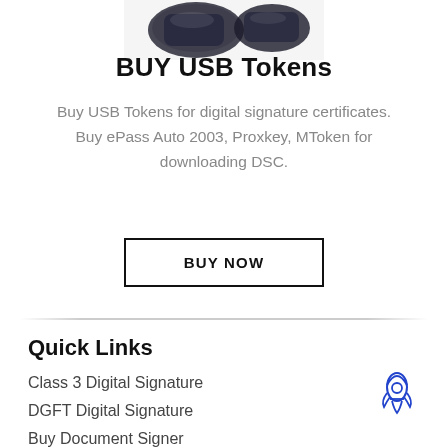[Figure (photo): USB tokens product image at top of page]
BUY USB Tokens
Buy USB Tokens for digital signature certificates. Buy ePass Auto 2003, Proxkey, MToken for downloading DSC.
BUY NOW
Quick Links
Class 3 Digital Signature
DGFT Digital Signature
Buy Document Signer
Buy USB Tokens
Buy Tally Prime
Bio...